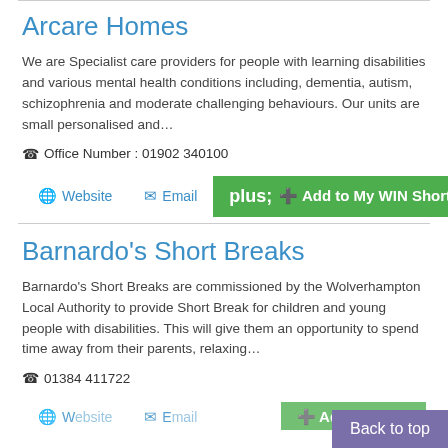Arcare Homes
We are Specialist care providers for people with learning disabilities and various mental health conditions including, dementia, autism, schizophrenia and moderate challenging behaviours. Our units are small personalised and…
Office Number : 01902 340100
Website  Email  Add to My WIN Shortlist
Barnardo's Short Breaks
Barnardo's Short Breaks are commissioned by the Wolverhampton Local Authority to provide Short Break for children and young people with disabilities. This will give them an opportunity to spend time away from their parents, relaxing…
01384 411722
Website  Email  Add to My...